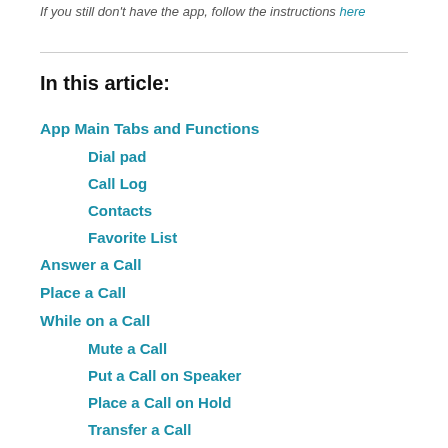If you still don't have the app, follow the instructions here
In this article:
App Main Tabs and Functions
Dial pad
Call Log
Contacts
Favorite List
Answer a Call
Place a Call
While on a Call
Mute a Call
Put a Call on Speaker
Place a Call on Hold
Transfer a Call